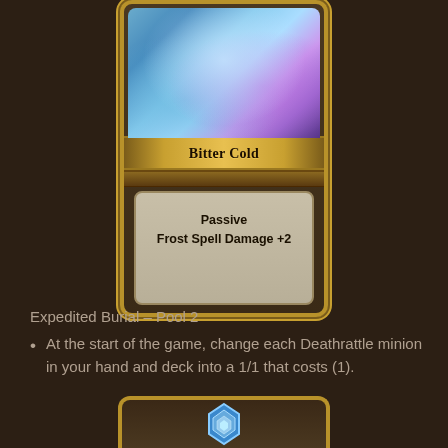[Figure (illustration): Hearthstone game card named 'Bitter Cold' with golden border, featuring a frost/ice themed character art in blue and purple tones. Card text area shows 'Passive Frost Spell Damage +2']
Expedited Burial – Pool 2
At the start of the game, change each Deathrattle minion in your hand and deck into a 1/1 that costs (1).
[Figure (illustration): Bottom portion of another Hearthstone card visible at the bottom of the page, showing a blue gem/crystal icon]